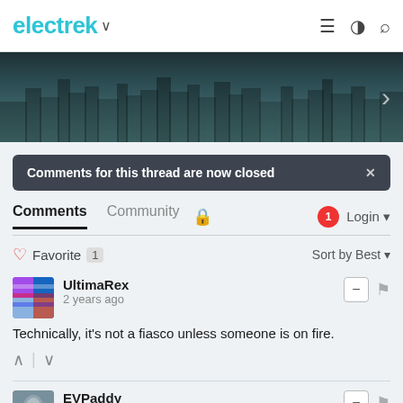electrek
[Figure (photo): Cityscape skyline banner image with dark teal/blue tones, partially visible text at top, right-pointing chevron arrow on right side]
Comments for this thread are now closed
Comments   Community   🔒   🔔1   Login
♡ Favorite  1   Sort by Best
UltimaRex
2 years ago
Technically, it's not a fiasco unless someone is on fire.
EVPaddy
2 years ago
What's up with electrek, Europe is going crazy over all EVs being able to charge at V3 Tesla superchargers and not a